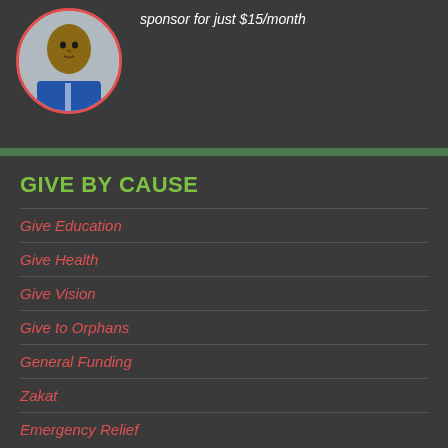[Figure (photo): Portrait photo of a young boy wearing a blue school uniform shirt, displayed in a circular frame with a red border]
sponsor for just $15/month
GIVE BY CAUSE
Give Education
Give Health
Give Vision
Give to Orphans
General Funding
Zakat
Emergency Relief